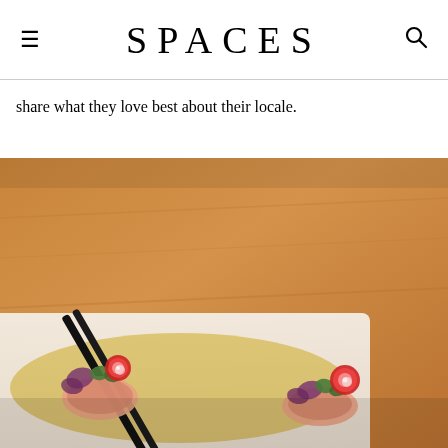SPACES
share what they love best about their locale.
[Figure (photo): Close-up photo of sashimi or sushi pieces garnished with purple flowers, green herb leaves, and sliced red strawberry/radish rounds, with a pair of black chopsticks resting on a wooden surface in the background. The dish is served on a white rectangular plate with a yellowish sauce.]